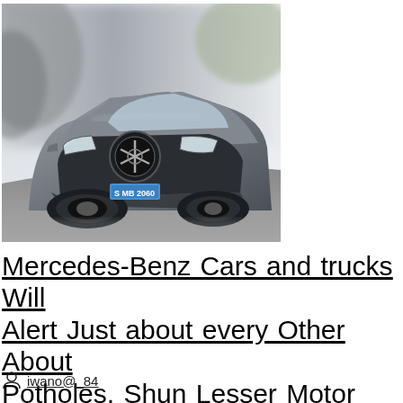[Figure (photo): A grey Mercedes-Benz SUV (license plate S MB 2060) driving on a road, photographed from a front-low angle with motion blur in the background.]
Mercedes-Benz Cars and trucks Will Alert Just about every Other About Potholes, Shun Lesser Motor vehicles
iwano@_84